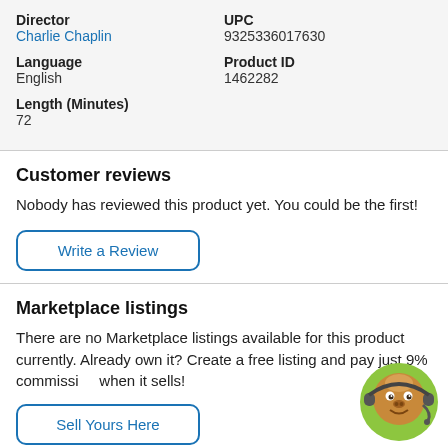| Field | Value |
| --- | --- |
| Director | Charlie Chaplin |
| UPC | 9325336017630 |
| Language | English |
| Product ID | 1462282 |
| Length (Minutes) | 72 |
Customer reviews
Nobody has reviewed this product yet. You could be the first!
Write a Review
Marketplace listings
There are no Marketplace listings available for this product currently. Already own it? Create a free listing and pay just 9% commission when it sells!
Sell Yours Here